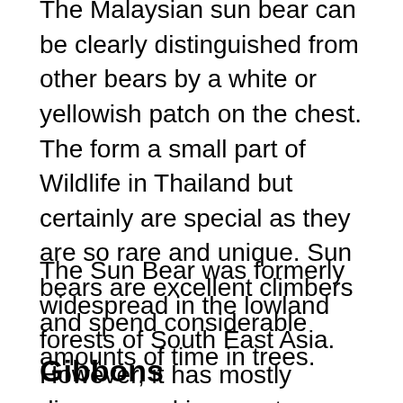The Malaysian sun bear can be clearly distinguished from other bears by a white or yellowish patch on the chest. The form a small part of Wildlife in Thailand but certainly are special as they are so rare and unique. Sun bears are excellent climbers and spend considerable amounts of time in trees.
The Sun Bear was formerly widespread in the lowland forests of South East Asia. However, it has mostly disappeared in recent decades from most of its former ranges. Nevertheless, Sun Bear is still found widespread in a few protected areas.
Gibbons